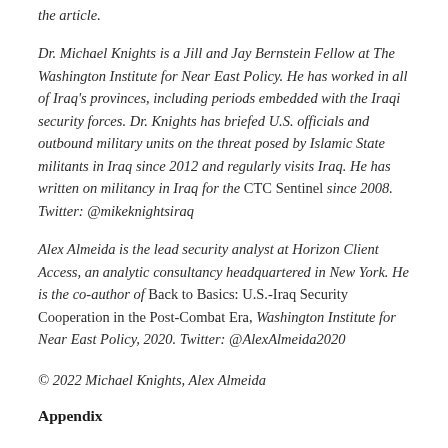the article.
Dr. Michael Knights is a Jill and Jay Bernstein Fellow at The Washington Institute for Near East Policy. He has worked in all of Iraq's provinces, including periods embedded with the Iraqi security forces. Dr. Knights has briefed U.S. officials and outbound military units on the threat posed by Islamic State militants in Iraq since 2012 and regularly visits Iraq. He has written on militancy in Iraq for the CTC Sentinel since 2008. Twitter: @mikeknightsiraq
Alex Almeida is the lead security analyst at Horizon Client Access, an analytic consultancy headquartered in New York. He is the co-author of Back to Basics: U.S.-Iraq Security Cooperation in the Post-Combat Era, Washington Institute for Near East Policy, 2020. Twitter: @AlexAlmeida2020
© 2022 Michael Knights, Alex Almeida
Appendix